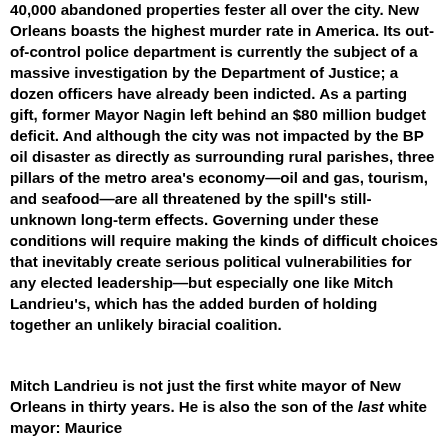40,000 abandoned properties fester all over the city. New Orleans boasts the highest murder rate in America. Its out-of-control police department is currently the subject of a massive investigation by the Department of Justice; a dozen officers have already been indicted. As a parting gift, former Mayor Nagin left behind an $80 million budget deficit. And although the city was not impacted by the BP oil disaster as directly as surrounding rural parishes, three pillars of the metro area's economy—oil and gas, tourism, and seafood—are all threatened by the spill's still-unknown long-term effects. Governing under these conditions will require making the kinds of difficult choices that inevitably create serious political vulnerabilities for any elected leadership—but especially one like Mitch Landrieu's, which has the added burden of holding together an unlikely biracial coalition.
Mitch Landrieu is not just the first white mayor of New Orleans in thirty years. He is also the son of the last white mayor: Maurice